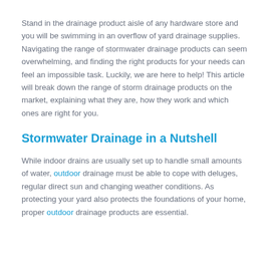Stand in the drainage product aisle of any hardware store and you will be swimming in an overflow of yard drainage supplies. Navigating the range of stormwater drainage products can seem overwhelming, and finding the right products for your needs can feel an impossible task. Luckily, we are here to help! This article will break down the range of storm drainage products on the market, explaining what they are, how they work and which ones are right for you.
Stormwater Drainage in a Nutshell
While indoor drains are usually set up to handle small amounts of water, outdoor drainage must be able to cope with deluges, regular direct sun and changing weather conditions. As protecting your yard also protects the foundations of your home, proper outdoor drainage products are essential.